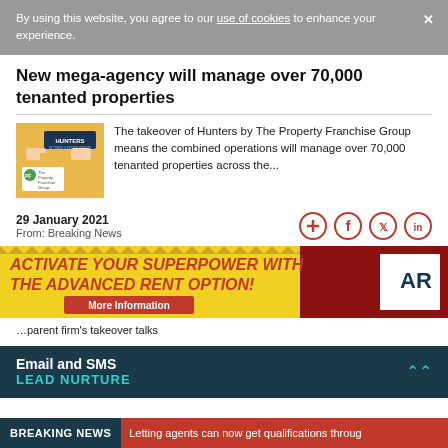By using this website, you agree to our use of cookies to enhance your experience.
New mega-agency will manage over 70,000 tenanted properties
[Figure (photo): Article thumbnail showing Hunters and The Property Franchise Group logos with puzzle pieces on yellow background]
The takeover of Hunters by The Property Franchise Group means the combined operations will manage over 70,000 tenanted properties across the...
29 January 2021
From: Breaking News
[Figure (illustration): Advertisement banner: ACTIVATE YOUR SUPERPOWER WITH THE ADVANCED RENT OPTION! More Information button, cartoon superhero character, ARO logo]
Email and SMS LEAD NURTURE
BREAKING NEWS  Letting agents can now get qualifications throug